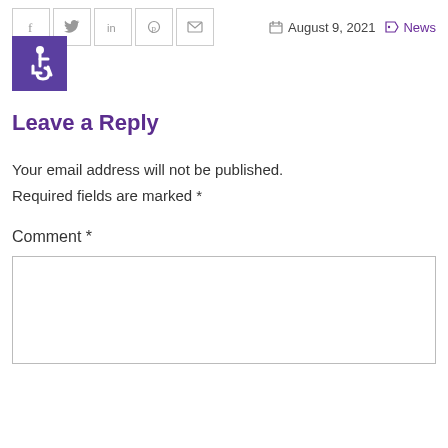[Figure (screenshot): Social share buttons: Facebook, Twitter, LinkedIn, Pinterest, Email icons in bordered squares]
August 9, 2021
News
[Figure (illustration): Accessibility wheelchair icon on purple background]
Leave a Reply
Your email address will not be published.
Required fields are marked *
Comment *